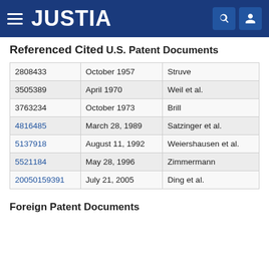JUSTIA
Referenced Cited
U.S. Patent Documents
| Patent Number | Date | Inventor |
| --- | --- | --- |
| 2808433 | October 1957 | Struve |
| 3505389 | April 1970 | Weil et al. |
| 3763234 | October 1973 | Brill |
| 4816485 | March 28, 1989 | Satzinger et al. |
| 5137918 | August 11, 1992 | Weiershausen et al. |
| 5521184 | May 28, 1996 | Zimmermann |
| 20050159391 | July 21, 2005 | Ding et al. |
Foreign Patent Documents